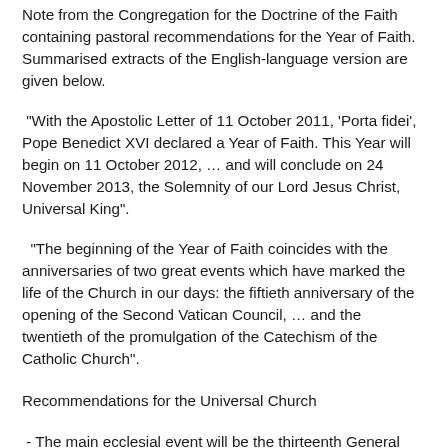Note from the Congregation for the Doctrine of the Faith containing pastoral recommendations for the Year of Faith. Summarised extracts of the English-language version are given below.
"With the Apostolic Letter of 11 October 2011, 'Porta fidei', Pope Benedict XVI declared a Year of Faith. This Year will begin on 11 October 2012, … and will conclude on 24 November 2013, the Solemnity of our Lord Jesus Christ, Universal King".
"The beginning of the Year of Faith coincides with the anniversaries of two great events which have marked the life of the Church in our days: the fiftieth anniversary of the opening of the Second Vatican Council, … and the twentieth of the promulgation of the Catechism of the Catholic Church".
Recommendations for the Universal Church
- The main ecclesial event will be the thirteenth General Assembly of the Ordinary Synod of Bishops, on "The New